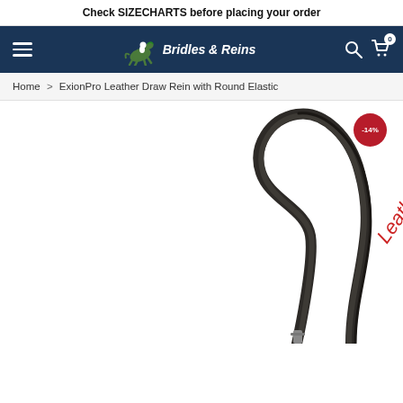Check SIZECHARTS before placing your order
[Figure (logo): Bridles & Reins logo with horse and rider icon on dark navy navigation bar]
Home > ExionPro Leather Draw Rein with Round Elastic
[Figure (photo): ExionPro leather draw rein product photo showing dark brown/black leather strap with looped end, overlaid with red diagonal text reading 'Leather' and 'nding Draw Reins'. Discount badge showing -14% in top right corner.]